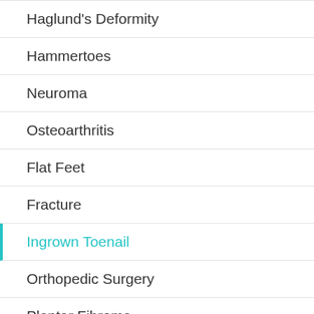Haglund's Deformity
Hammertoes
Neuroma
Osteoarthritis
Flat Feet
Fracture
Ingrown Toenail
Orthopedic Surgery
Plantar Fibroma
Sports Injuries